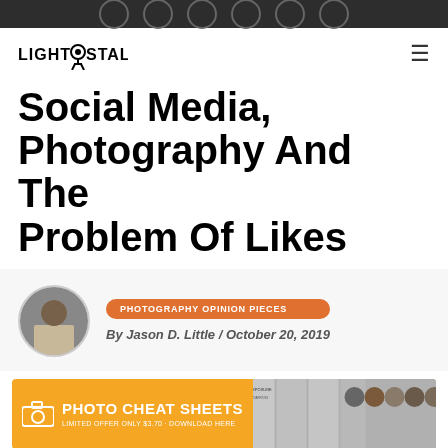LightStalking
Social Media, Photography And The Problem Of Likes
PHOTOGRAPHY OPINION PIECES
By Jason D. Little / October 20, 2019
[Figure (infographic): Photo Cheat Sheets advertisement banner with orange background, camera icon, bold text 'PHOTO CHEAT SHEETS', subtitle 'LIMITED OFFER ONLY $3.70 - DOWNLOAD HERE', and a preview strip of cheat sheet thumbnails on the right side]